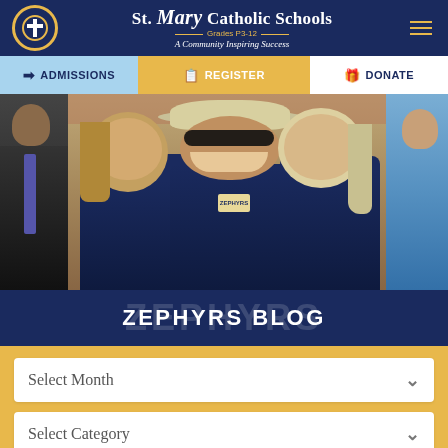St. Mary Catholic Schools — Grades P3-12 — A Community Inspiring Success
ADMISSIONS
REGISTER
DONATE
[Figure (photo): Three smiling people wearing navy Zephyrs shirts outdoors; a man in the center wearing sunglasses and a bucket hat, flanked by two young women with long hair. Partial figures visible on far left and right edges.]
ZEPHYRS BLOG
Select Month
Select Category